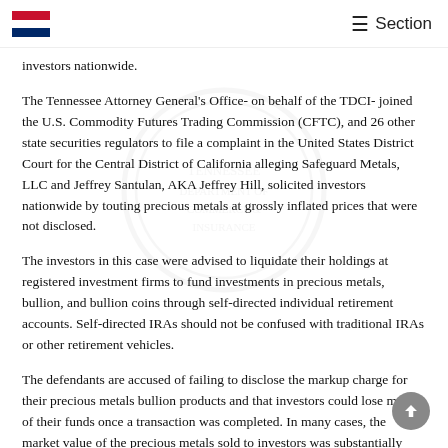☰ Section
investors nationwide.
The Tennessee Attorney General's Office- on behalf of the TDCI- joined the U.S. Commodity Futures Trading Commission (CFTC), and 26 other state securities regulators to file a complaint in the United States District Court for the Central District of California alleging Safeguard Metals, LLC and Jeffrey Santulan, AKA Jeffrey Hill, solicited investors nationwide by touting precious metals at grossly inflated prices that were not disclosed.
The investors in this case were advised to liquidate their holdings at registered investment firms to fund investments in precious metals, bullion, and bullion coins through self-directed individual retirement accounts. Self-directed IRAs should not be confused with traditional IRAs or other retirement vehicles.
The defendants are accused of failing to disclose the markup charge for their precious metals bullion products and that investors could lose most of their funds once a transaction was completed. In many cases, the market value of the precious metals sold to investors was substantially lower than the value of the securities and other retirement savings